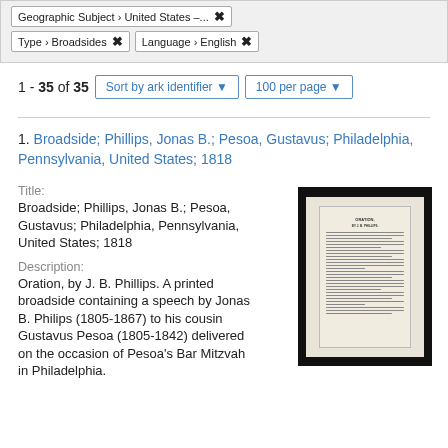Geographic Subject > United States – ...  ✕
Type > Broadsides  ✕   Language > English  ✕
1 - 35 of 35
Sort by ark identifier ▾
100 per page ▾
1. Broadside; Phillips, Jonas B.; Pesoa, Gustavus; Philadelphia, Pennsylvania, United States; 1818
Title:
Broadside; Phillips, Jonas B.; Pesoa, Gustavus; Philadelphia, Pennsylvania, United States; 1818
Description:
Oration, by J. B. Phillips. A printed broadside containing a speech by Jonas B. Philips (1805-1867) to his cousin Gustavus Pesoa (1805-1842) delivered on the occasion of Pesoa's Bar Mitzvah in Philadelphia.
[Figure (photo): Thumbnail photograph of a historical broadside document — yellowed paper with printed text in a dark frame/border.]